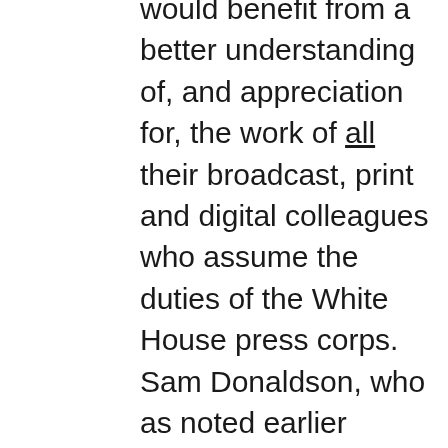would benefit from a better understanding of, and appreciation for, the work of all their broadcast, print and digital colleagues who assume the duties of the White House press corps. Sam Donaldson, who as noted earlier served two tours as White House Correspondent for ABC News, said this about going to work every day to cover the president of the United States: “Our job is to challenge the president, challenge him to explain policy, justify decisions, defend mistakes, reveal intentions for the future, and comment on a host of matters about which his